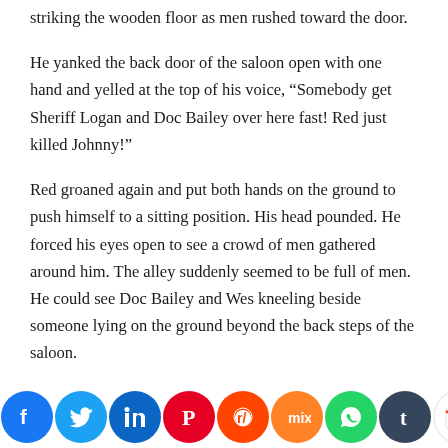striking the wooden floor as men rushed toward the door.
He yanked the back door of the saloon open with one hand and yelled at the top of his voice, “Somebody get Sheriff Logan and Doc Bailey over here fast! Red just killed Johnny!”
Red groaned again and put both hands on the ground to push himself to a sitting position. His head pounded. He forced his eyes open to see a crowd of men gathered around him. The alley suddenly seemed to be full of men. He could see Doc Bailey and Wes kneeling beside someone lying on the ground beyond the back steps of the saloon.
“What’s happening?” Red muttered.
[Figure (infographic): Social media sharing icons bar at the bottom: Facebook (blue), Twitter (light blue), LinkedIn (blue), Pinterest (red), Reddit (orange-red), Mix (orange), WhatsApp (green), Tumblr (dark blue), Gmail (red/white), Instagram (gradient), Blogger (orange), More/Plus (gray)]